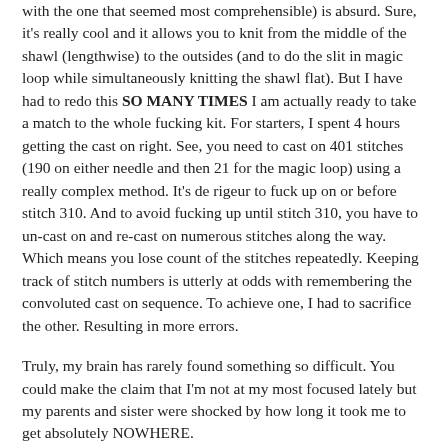with the one that seemed most comprehensible) is absurd. Sure, it's really cool and it allows you to knit from the middle of the shawl (lengthwise) to the outsides (and to do the slit in magic loop while simultaneously knitting the shawl flat). But I have had to redo this SO MANY TIMES I am actually ready to take a match to the whole fucking kit. For starters, I spent 4 hours getting the cast on right. See, you need to cast on 401 stitches (190 on either needle and then 21 for the magic loop) using a really complex method. It's de rigeur to fuck up on or before stitch 310. And to avoid fucking up until stitch 310, you have to un-cast on and re-cast on numerous stitches along the way. Which means you lose count of the stitches repeatedly. Keeping track of stitch numbers is utterly at odds with remembering the convoluted cast on sequence. To achieve one, I had to sacrifice the other. Resulting in more errors.
Truly, my brain has rarely found something so difficult. You could make the claim that I'm not at my most focused lately but my parents and sister were shocked by how long it took me to get absolutely NOWHERE.